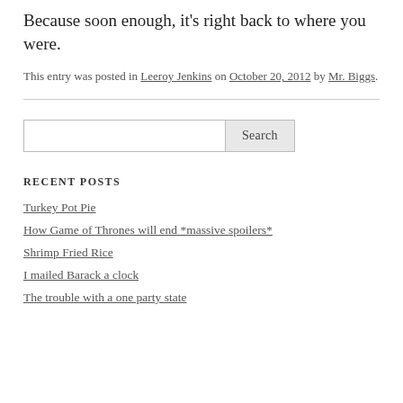Because soon enough, it's right back to where you were.
This entry was posted in Leeroy Jenkins on October 20, 2012 by Mr. Biggs.
Search
RECENT POSTS
Turkey Pot Pie
How Game of Thrones will end *massive spoilers*
Shrimp Fried Rice
I mailed Barack a clock
The trouble with a one party state